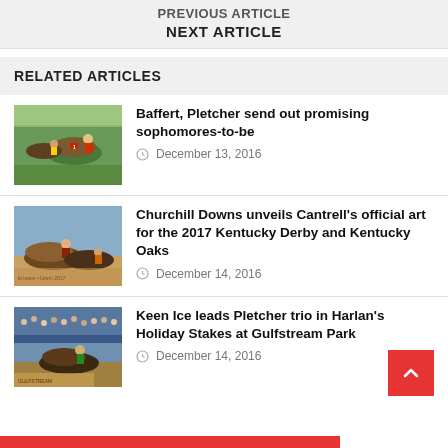PREVIOUS ARTICLE
NEXT ARTICLE
RELATED ARTICLES
Baffert, Pletcher send out promising sophomores-to-be
December 13, 2016
Churchill Downs unveils Cantrell's official art for the 2017 Kentucky Derby and Kentucky Oaks
December 14, 2016
Keen Ice leads Pletcher trio in Harlan's Holiday Stakes at Gulfstream Park
December 14, 2016